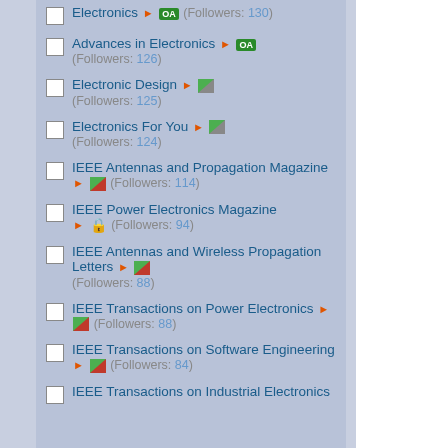Electronics ► OA (Followers: 130)
Advances in Electronics ► OA (Followers: 126)
Electronic Design ► [half-green icon] (Followers: 125)
Electronics For You ► [half-green icon] (Followers: 124)
IEEE Antennas and Propagation Magazine ► [red icon] (Followers: 114)
IEEE Power Electronics Magazine ► [lock icon] (Followers: 94)
IEEE Antennas and Wireless Propagation Letters ► [half-red icon] (Followers: 88)
IEEE Transactions on Power Electronics ► [half-red icon] (Followers: 88)
IEEE Transactions on Software Engineering ► [half-red icon] (Followers: 84)
IEEE Transactions on Industrial Electronics ► (Followers: ...)